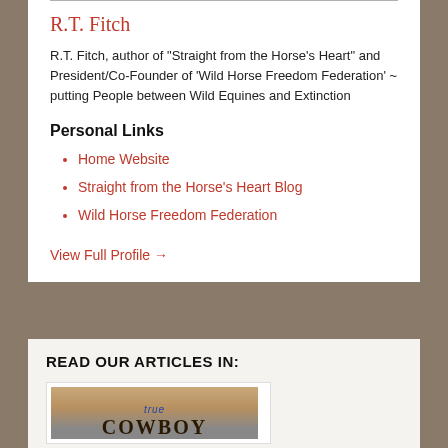R.T. Fitch
R.T. Fitch, author of "Straight from the Horse's Heart" and President/Co-Founder of 'Wild Horse Freedom Federation' ~ putting People between Wild Equines and Extinction
Personal Links
Home Website
Straight from the Horse's Heart Blog
Wild Horse Freedom Federation
View Full Profile →
READ OUR ARTICLES IN:
[Figure (photo): Cowboy magazine image with bold COWBOY text overlay and 'true' text in blue]